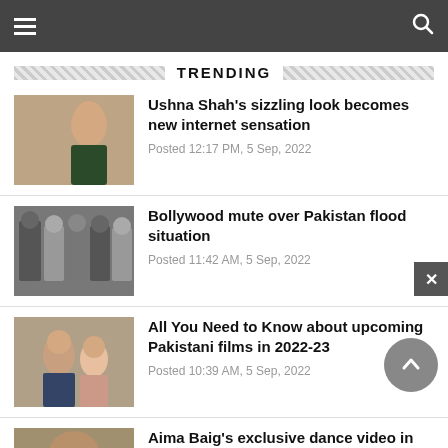TRENDING
Ushna Shah's sizzling look becomes new internet sensation
Posted 12:17 PM, 5 Sep, 2022
Bollywood mute over Pakistan flood situation
Posted 11:42 AM, 5 Sep, 2022
All You Need to Know about upcoming Pakistani films in 2022-23
Posted 10:39 AM, 5 Sep, 2022
Aima Baig's exclusive dance video in